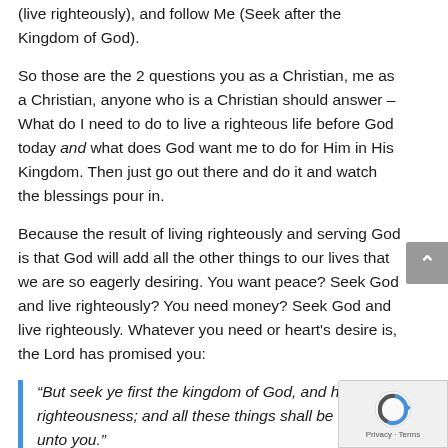(live righteously), and follow Me (Seek after the Kingdom of God).
So those are the 2 questions you as a Christian, me as a Christian, anyone who is a Christian should answer – What do I need to do to live a righteous life before God today and what does God want me to do for Him in His Kingdom. Then just go out there and do it and watch the blessings pour in.
Because the result of living righteously and serving God is that God will add all the other things to our lives that we are so eagerly desiring. You want peace? Seek God and live righteously? You need money? Seek God and live righteously. Whatever you need or heart's desire is, the Lord has promised you:
“But seek ye first the kingdom of God, and his righteousness; and all these things shall be added unto you.”